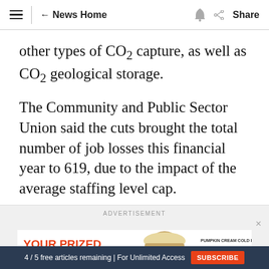≡  ← News Home  🔔  ⋉ Share
other types of CO2 capture, as well as CO2 geological storage.
The Community and Public Sector Union said the cuts brought the total number of job losses this financial year to 619, due to the impact of the average staffing level cap.
ADVERTISEMENT
[Figure (other): Dunkin' Pumpkin Cream Cold Brew advertisement banner with text 'YOUR PRIZED PUMPKIN' and 'DUNKIN' ORDER NOW']
4 / 5 free articles remaining | For Unlimited Access  SUBSCRIBE